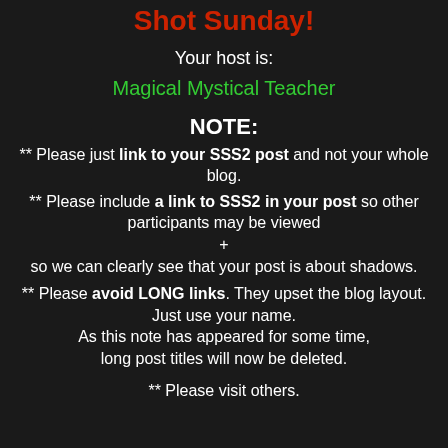Shot Sunday!
Your host is:
Magical Mystical Teacher
NOTE:
** Please just link to your SSS2 post and not your whole blog.
** Please include a link to SSS2 in your post so other participants may be viewed + so we can clearly see that your post is about shadows.
** Please avoid LONG links. They upset the blog layout. Just use your name. As this note has appeared for some time, long post titles will now be deleted.
** Please visit others.